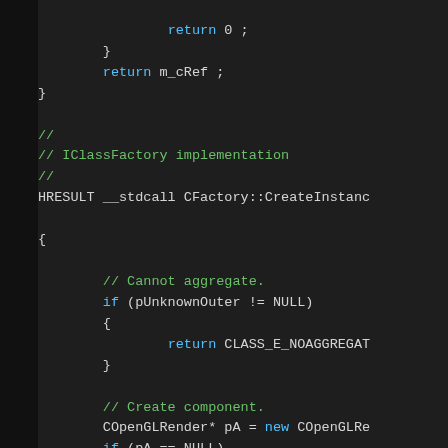Code snippet showing C++ implementation with return statements, IClassFactory implementation comment, HRESULT __stdcall CFactory::CreateInstance function body with aggregation check and component creation.